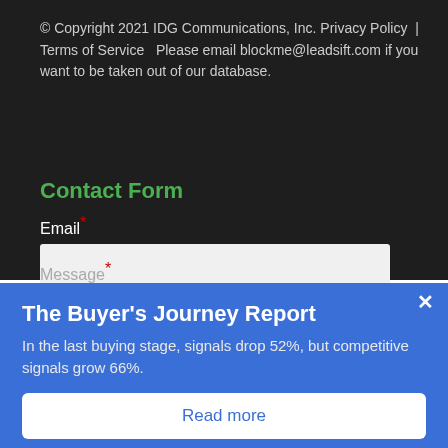© Copyright 2021 IDG Communications, Inc. Privacy Policy | Terms of Service Please email blockme@leadsift.com if you want to be taken out of our database.
Contact Form
Email*
Message*
The Buyer's Journey Report
In the last buying stage, signals drop 52%, but competitive signals grow 66%.
Read more